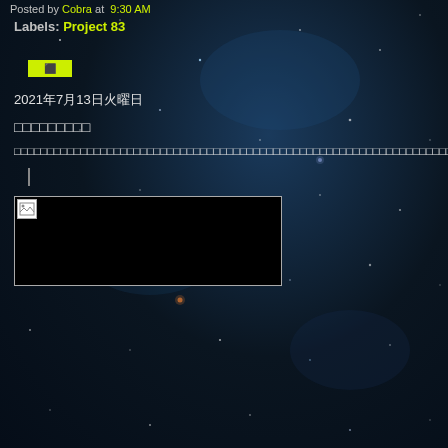Posted by Cobra at 9:30 AM
Labels: Project 83
⬛
2021年7月13日火曜日
□□□□□□□□□
□□□□□□□□□□□□□□□□□□□□□□□□□□□□□□□□□□□□□□□□□□□□□□□□□□□□□□□□□□□□□□□□□□□□□□□□□□□□□□□□□□□□□□□□□□□□□□□□□□□□□□□□□□□□□□□□□□□□□□□□□□□□□□□□□□□□□□□□□□□□□□□□□□□□□□□□□□□□□□□□□□□□□□□□□□□□□□
[Figure (photo): Image placeholder with broken image icon inside a bordered black box]